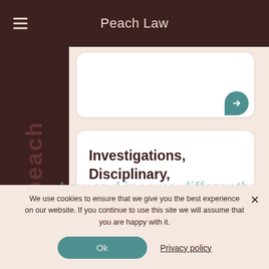Peach Law
[Figure (screenshot): Top card with arrow button (partial, cropped at top)]
Investigations, Disciplinary, Grievance and Appeals
[Figure (screenshot): Main service card with teal arrow button]
We use cookies to ensure that we give you the best experience on our website. If you continue to use this site we will assume that you are happy with it.
Ok
Privacy policy